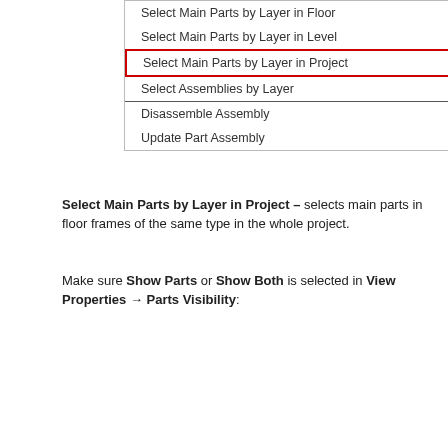[Figure (screenshot): Context menu showing options: Select Main Parts by Layer in Floor, Select Main Parts by Layer in Level, Select Main Parts by Layer in Project (highlighted with red border), Select Assemblies by Layer (with separator below), Disassemble Assembly, Update Part Assembly]
Select Main Parts by Layer in Project – selects main parts in floor frames of the same type in the whole project.
Make sure Show Parts or Show Both is selected in View Properties → Parts Visibility:
[Figure (screenshot): Properties panel showing Floor Plan view with Floor Plan: Level 1 dropdown, Edit Type button, Graphics section header, and View Scale row showing 1:10]